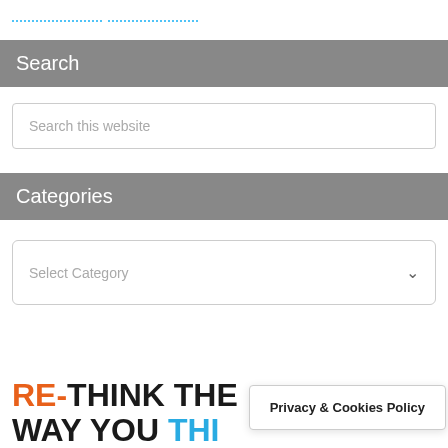breadcrumb links (dotted blue underline links)
Search
Search this website
Categories
Select Category
RE-THINK THE WAY YOU THI...
Privacy & Cookies Policy